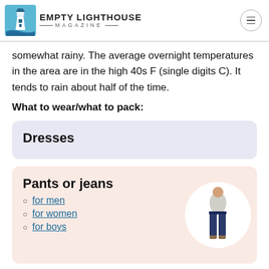EMPTY LIGHTHOUSE MAGAZINE
somewhat rainy. The average overnight temperatures in the area are in the high 40s F (single digits C). It tends to rain about half of the time.
What to wear/what to pack:
Dresses
Pants or jeans
for men
for women
for boys